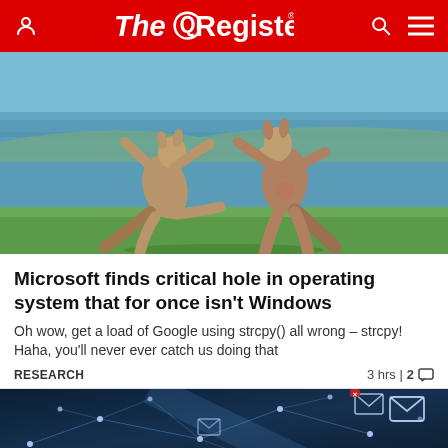The Register
[Figure (photo): Two kangaroos fighting/boxing upright on hind legs on grassy area near water]
Microsoft finds critical hole in operating system that for once isn't Windows
Oh wow, get a load of Google using strcpy() all wrong – strcpy! Haha, you'll never ever catch us doing that
RESEARCH   3 hrs | 2
[Figure (photo): Dark blue network/email concept image with envelope icons and connected dots/lines]